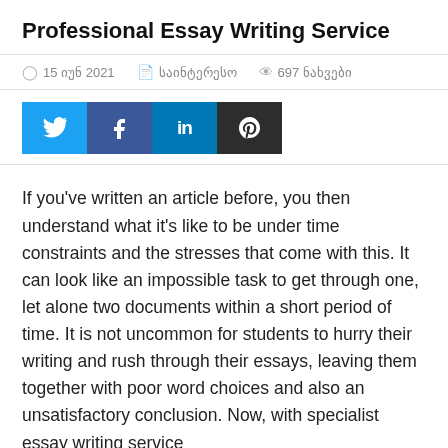Professional Essay Writing Service
15 იუნ 2021   საინტერესო   697 ნახვები
[Figure (infographic): Social media share buttons: Twitter (blue), Facebook (dark blue), LinkedIn (blue), Pinterest (dark/black)]
If you’ve written an article before, you then understand what it’s like to be under time constraints and the stresses that come with this. It can look like an impossible task to get through one, let alone two documents within a short period of time. It is not uncommon for students to hurry their writing and rush through their essays, leaving them together with poor word choices and also an unsatisfactory conclusion. Now, with specialist essay writing service